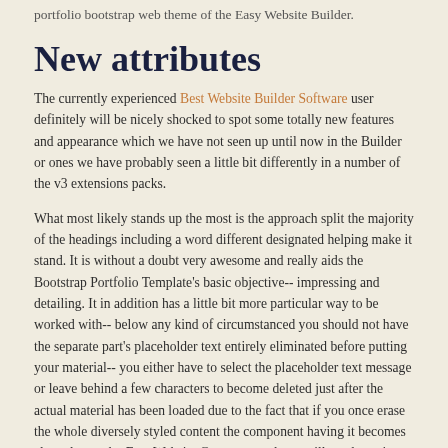portfolio bootstrap web theme of the Easy Website Builder.
New attributes
The currently experienced Best Website Builder Software user definitely will be nicely shocked to spot some totally new features and appearance which we have not seen up until now in the Builder or ones we have probably seen a little bit differently in a number of the v3 extensions packs.
What most likely stands up the most is the approach split the majority of the headings including a word different designated helping make it stand. It is without a doubt very awesome and really aids the Bootstrap Portfolio Template's basic objective-- impressing and detailing. It in addition has a little bit more particular way to be worked with-- below any kind of circumstanced you should not have the separate part's placeholder text entirely eliminated before putting your material-- you either have to select the placeholder text message or leave behind a few characters to become deleted just after the actual material has been loaded due to the fact that if you once erase the whole diversely styled content the component having it becomes cleared away by Free Website Generator and you will need to reinsert the block once more. That is really seeming a bit like a flaw and most likely will be thought to be a bit better in a number of the future